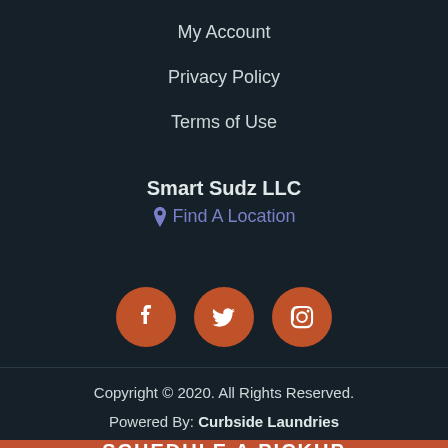My Account
Privacy Policy
Terms of Use
Smart Sudz LLC
📍 Find A Location
[Figure (infographic): Three orange circular social media icons: Facebook, Twitter, Instagram]
Copyright © 2020. All Rights Reserved.
Powered By: Curbside Laundries
SCHEDULE A PICKUP